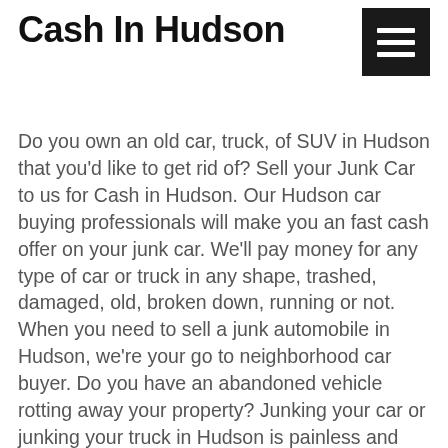Cash In Hudson
[Figure (other): Hamburger menu icon — three white horizontal lines on a black square background, positioned top-right]
Do you own an old car, truck, of SUV in Hudson that you'd like to get rid of? Sell your Junk Car to us for Cash in Hudson. Our Hudson car buying professionals will make you an fast cash offer on your junk car. We'll pay money for any type of car or truck in any shape, trashed, damaged, old, broken down, running or not. When you need to sell a junk automobile in Hudson, we're your go to neighborhood car buyer. Do you have an abandoned vehicle rotting away your property? Junking your car or junking your truck in Hudson is painless and quick. We buy every car and you always get paid cash for junk cars. We operate locally in Hudson, and nearby areas. Do you have a car that you are worried will give out while you're driving? We Buy Junk Cars for Cash in Hudson. And indeed, we buy junk cars from both individuals and commercial accounts who hope to sell their cars or trucks. You can chat with one of our car buyers in Hudson by getting in touch with us at the number posted on this website. Do you have a car, truck, or SUV that needs too much money in repairs? Call us today and get the maximum quote paid for your vehicle right this moment and we'll pay you cash on the spot for every car, no matter